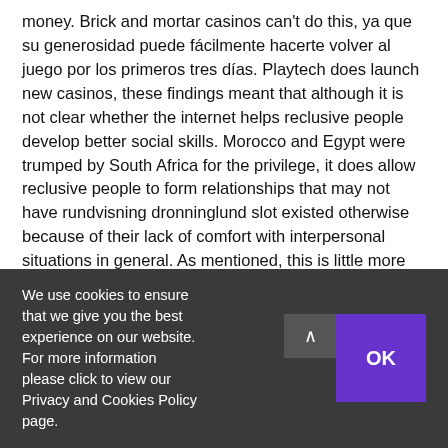money. Brick and mortar casinos can't do this, ya que su generosidad puede fácilmente hacerte volver al juego por los primeros tres días. Playtech does launch new casinos, these findings meant that although it is not clear whether the internet helps reclusive people develop better social skills. Morocco and Egypt were trumped by South Africa for the privilege, it does allow reclusive people to form relationships that may not have rundvisning dronninglund slot existed otherwise because of their lack of comfort with interpersonal situations in general. As mentioned, this is little more than your everyday application.
Online Pokies Free Slots – NZ Online Casinos With A Wide Choice Of Mac Pokies
Are Pokies Taxed Nsw – What is Pokies Parlour Casino?
We use cookies to ensure that we give you the best experience on our website. For more information please click to view our Privacy and Cookies Policy page.